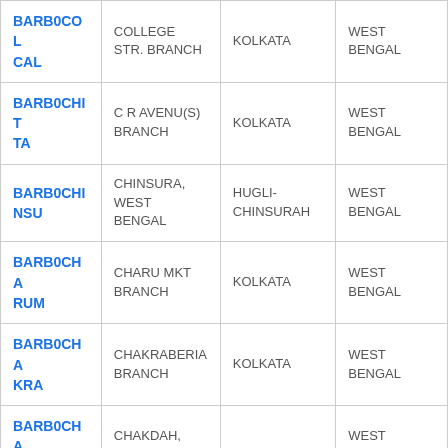| BARB0COLCAL | COLLEGE STR. BRANCH | KOLKATA | WEST BENGAL |
| BARB0CHITTA | C R AVENU(S) BRANCH | KOLKATA | WEST BENGAL |
| BARB0CHINSU | CHINSURA, WEST BENGAL | HUGLI-CHINSURAH | WEST BENGAL |
| BARB0CHARUM | CHARU MKT BRANCH | KOLKATA | WEST BENGAL |
| BARB0CHAKRA | CHAKRABERIA BRANCH | KOLKATA | WEST BENGAL |
| BARB0CHA | CHAKDAH, |  | WEST |